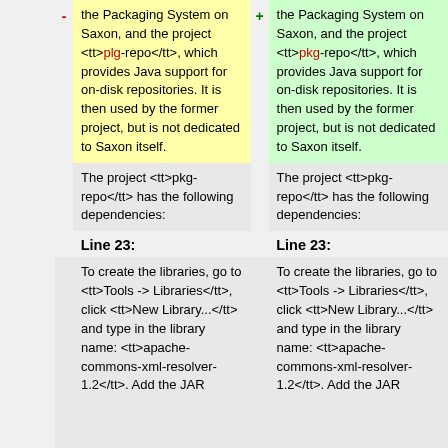- the Packaging System on Saxon, and the project <tt>plg-repo</tt>, which provides Java support for on-disk repositories. It is then used by the former project, but is not dedicated to Saxon itself.
+ the Packaging System on Saxon, and the project <tt>pkg-repo</tt>, which provides Java support for on-disk repositories. It is then used by the former project, but is not dedicated to Saxon itself.
The project <tt>pkg-repo</tt> has the following dependencies:
The project <tt>pkg-repo</tt> has the following dependencies:
Line 23:
Line 23:
To create the libraries, go to <tt>Tools -> Libraries</tt>, click <tt>New Library...</tt> and type in the library name: <tt>apache-commons-xml-resolver-1.2</tt>. Add the JAR
To create the libraries, go to <tt>Tools -> Libraries</tt>, click <tt>New Library...</tt> and type in the library name: <tt>apache-commons-xml-resolver-1.2</tt>. Add the JAR